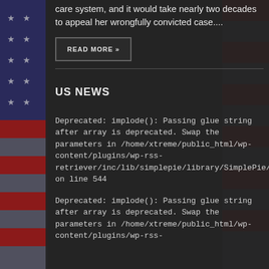care system, and it would take nearly two decades to appeal her wrongfully convicted case....
READ MORE »
US NEWS
Deprecated: implode(): Passing glue string after array is deprecated. Swap the parameters in /home/xtreme/public_html/wp-content/plugins/wp-rss-retriever/inc/lib/simplepie/library/SimplePie/Parse/Date.php on line 544
Deprecated: implode(): Passing glue string after array is deprecated. Swap the parameters in /home/xtreme/public_html/wp-content/plugins/wp-rss-